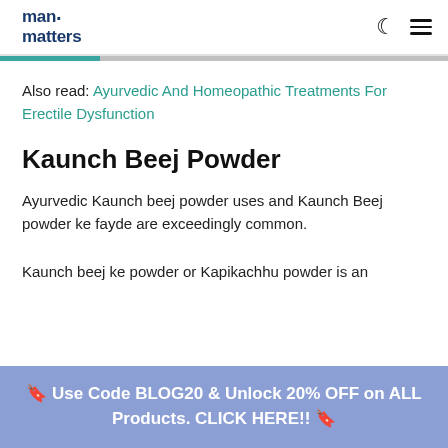man matters
Also read: Ayurvedic And Homeopathic Treatments For Erectile Dysfunction
Kaunch Beej Powder
Ayurvedic Kaunch beej powder uses and Kaunch Beej powder ke fayde are exceedingly common.
Kaunch beej ke powder or Kapikachhu powder is an
🔖 Use Code BLOG20 & Unlock 20% OFF on ALL Products. CLICK HERE!! 🔖